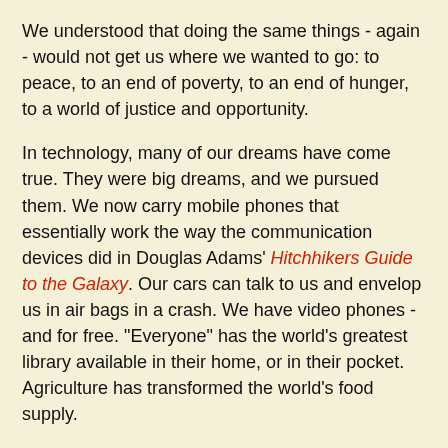We understood that doing the same things - again - would not get us where we wanted to go: to peace, to an end of poverty, to an end of hunger, to a world of justice and opportunity.
In technology, many of our dreams have come true. They were big dreams, and we pursued them. We now carry mobile phones that essentially work the way the communication devices did in Douglas Adams' Hitchhikers Guide to the Galaxy. Our cars can talk to us and envelop us in air bags in a crash. We have video phones - and for free. "Everyone" has the world's greatest library available in their home, or in their pocket. Agriculture has transformed the world's food supply.
But in schools, we go backwards. We even declare it, saying, we're going "back"wards "to basics." When we let a few new things trickle in, we control them so fiercely that they change almost nothing. Rather than tearing down classroom walls our kids now spend more time in school and even take fewer field trips. Rather than alternative evaluations we now have standardized tests for all ages.